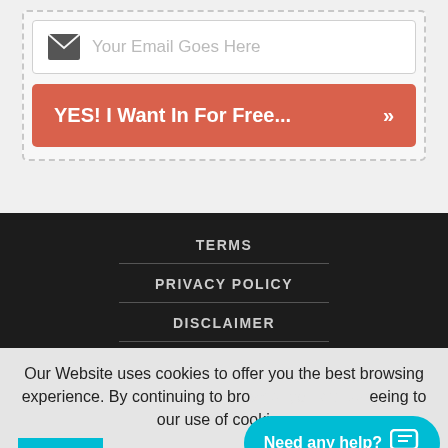[Figure (screenshot): Email input field with envelope icon and placeholder text 'Your Email Goes Here']
[Figure (screenshot): Red CTA button with text 'YES! I Want In For Free...' and double chevron arrow, inside a dashed border container]
TERMS
PRIVACY POLICY
DISCLAIMER
Our Website uses cookies to offer you the best browsing experience. By continuing to bro... eeing to our use of cookies.
OKAY...
Need any help?